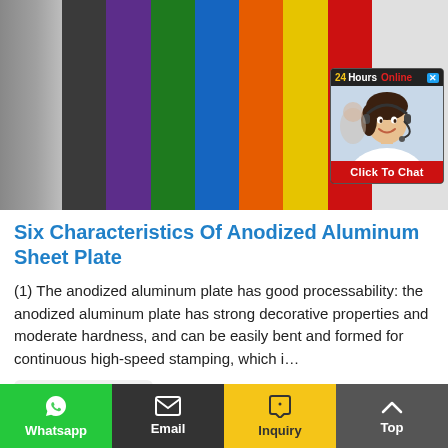[Figure (photo): Photo of colorful anodized aluminum sheets standing vertically — gray, black, purple, green, blue, orange, yellow, red stripes visible. Overlaid with a 24Hours Online chat widget showing a customer service woman with headset and a 'Click To Chat' button.]
Six Characteristics Of Anodized Aluminum Sheet Plate
(1) The anodized aluminum plate has good processability: the anodized aluminum plate has strong decorative properties and moderate hardness, and can be easily bent and formed for continuous high-speed stamping, which i…
Contact Us